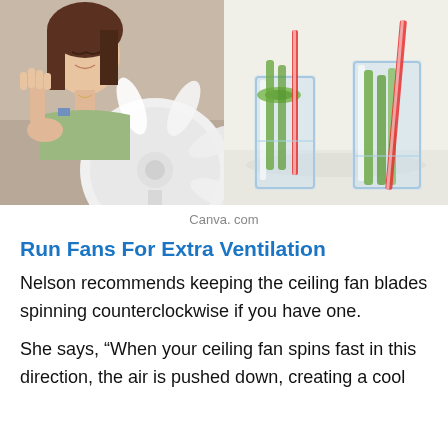[Figure (photo): Two side-by-side photos: left shows a young woman sitting near a white electric fan, right shows two glasses of water with cucumber slices and red-and-white striped straws]
Canva. com
Run Fans For Extra Ventilation
Nelson recommends keeping the ceiling fan blades spinning counterclockwise if you have one.
She says, “When your ceiling fan spins fast in this direction, the air is pushed down, creating a cool